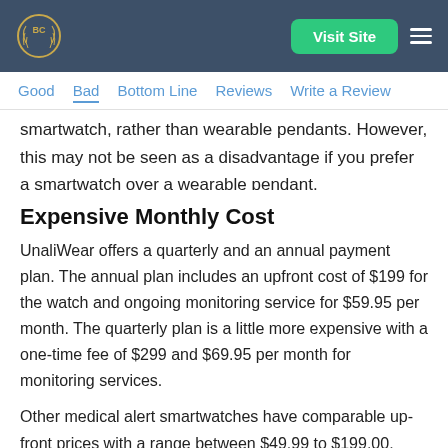BC logo | Visit Site | menu
Good | Bad | Bottom Line | Reviews | Write a Review
smartwatch, rather than wearable pendants. However, this may not be seen as a disadvantage if you prefer a smartwatch over a wearable pendant.
Expensive Monthly Cost
UnaliWear offers a quarterly and an annual payment plan. The annual plan includes an upfront cost of $199 for the watch and ongoing monitoring service for $59.95 per month. The quarterly plan is a little more expensive with a one-time fee of $299 and $69.95 per month for monitoring services.
Other medical alert smartwatches have comparable up-front prices with a range between $49.99 to $199.00. Some